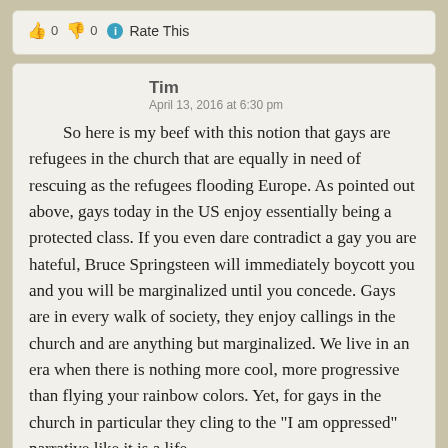👍 0 👎 0 ℹ Rate This
Tim
April 13, 2016 at 6:30 pm
So here is my beef with this notion that gays are refugees in the church that are equally in need of rescuing as the refugees flooding Europe. As pointed out above, gays today in the US enjoy essentially being a protected class. If you even dare contradict a gay you are hateful, Bruce Springsteen will immediately boycott you and you will be marginalized until you concede. Gays are in every walk of society, they enjoy callings in the church and are anything but marginalized. We live in an era when there is nothing more cool, more progressive than flying your rainbow colors. Yet, for gays in the church in particular they cling to the "I am oppressed" narrative like it is a life